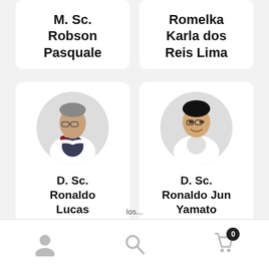[Figure (photo): Partial profile card showing name M. Sc. Robson Pasquale]
[Figure (photo): Partial profile card showing name Romelka Karla dos Reis Lima]
[Figure (photo): Doctor profile card with circular photo of D. Sc. Ronaldo Lucas in white coat]
D. Sc. Ronaldo Lucas
[Figure (photo): Doctor profile card with circular photo of D. Sc. Ronaldo Jun Yamato in white coat]
D. Sc. Ronaldo Jun Yamato
0  los...